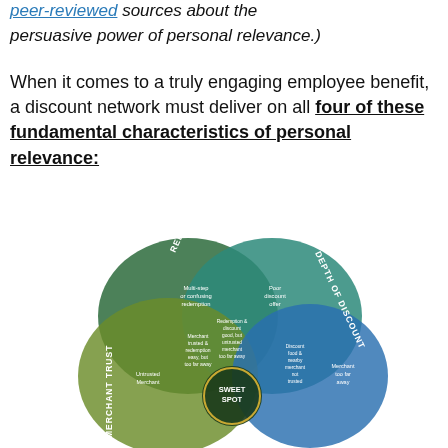peer-reviewed sources about the persuasive power of personal relevance.)
When it comes to a truly engaging employee benefit, a discount network must deliver on all four of these fundamental characteristics of personal relevance:
[Figure (infographic): Venn diagram with four overlapping circles labeled: REDEMPTION EASE (dark green, top-center-left), DEPTH OF DISCOUNT (teal, top-center-right), MERCHANT TRUST (olive/yellow-green, left), PROXIMITY (blue, right). Overlapping regions contain text describing failure modes: 'Multi-step or confusing redemption', 'Poor discount offer', 'Untrusted Merchant', 'Merchant too far away', 'Merchant trusted & redemption easy, but too far away', 'Redemption & discount good, but untrusted merchant too far away', 'Discount good & nearby merchant not trusted', 'Discount food & nearby merchant not trusted'. Center overlap labeled SWEET SPOT.]